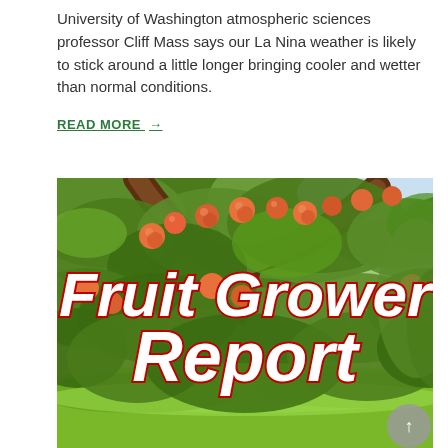University of Washington atmospheric sciences professor Cliff Mass says our La Nina weather is likely to stick around a little longer bringing cooler and wetter than normal conditions.
READ MORE →
[Figure (photo): Peach tree laden with ripe peaches with overlaid text reading 'Fruit Grower Report' in large bold white italic letters with red outline]